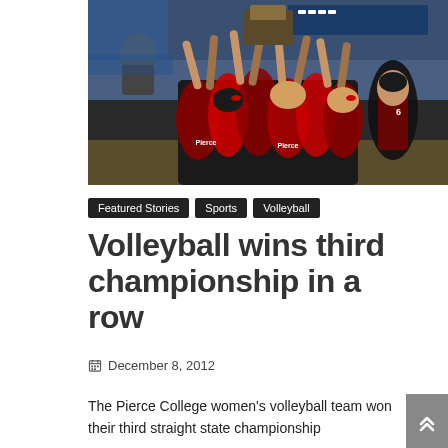[Figure (photo): Volleyball team members in red uniforms raising hands together holding a trophy plaque in a gymnasium, celebrating their championship win]
Featured Stories  Sports  Volleyball
Volleyball wins third championship in a row
December 8, 2012
The Pierce College women's volleyball team won their third straight state championship